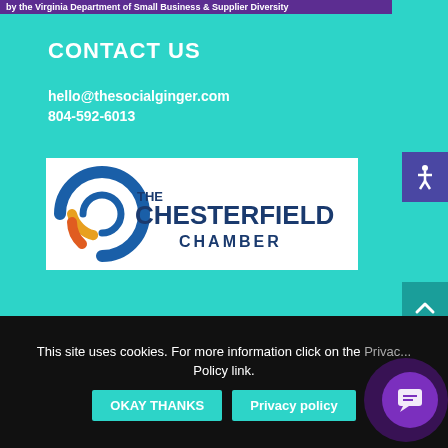by the Virginia Department of Small Business & Supplier Diversity
CONTACT US
hello@thesocialginger.com
804-592-6013
[Figure (logo): The Chesterfield Chamber logo — circular C emblem in blue, orange, yellow gradient with 'THE CHESTERFIELD CHAMBER' text in navy blue on white background]
Privacy Policy
This site uses cookies. For more information click on the Privacy Policy link.